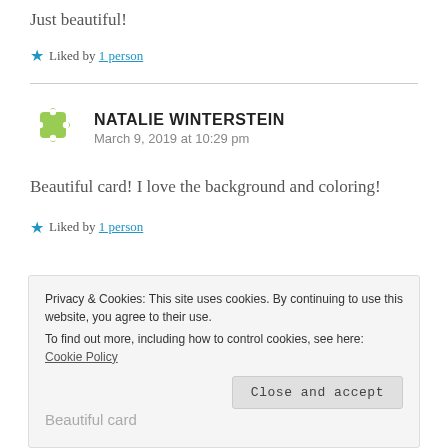Just beautiful!
★ Liked by 1 person
NATALIE WINTERSTEIN
March 9, 2019 at 10:29 pm
Beautiful card! I love the background and coloring!
★ Liked by 1 person
Privacy & Cookies: This site uses cookies. By continuing to use this website, you agree to their use.
To find out more, including how to control cookies, see here: Cookie Policy
Close and accept
Beautiful card